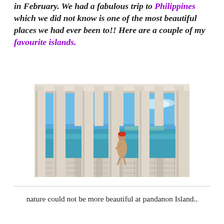in February. We had a fabulous trip to Philippines which we did not know is one of the most beautiful places we had ever been to!! Here are a couple of my favourite islands.
[Figure (photo): A pergola with tall white stone columns casting striped shadows on a tiled floor, with a person in a dress standing between columns, looking out at a turquoise sea under a blue sky — Pandanon Island, Philippines.]
nature could not be more beautiful at pandanon Island..